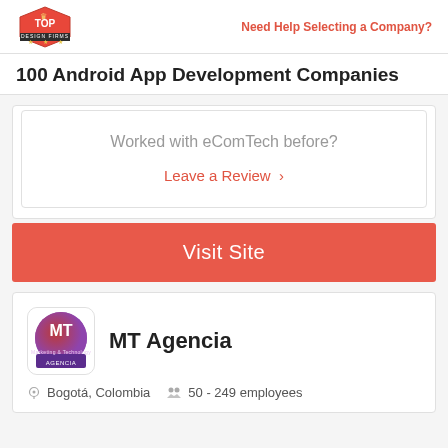Top Design Firms | Need Help Selecting a Company?
100 Android App Development Companies
Worked with eComTech before?
Leave a Review >
Visit Site
[Figure (logo): MT Agencia logo - purple/pink circular logo with MT text and AGENCIA below]
MT Agencia
Bogotá, Colombia   50 - 249 employees